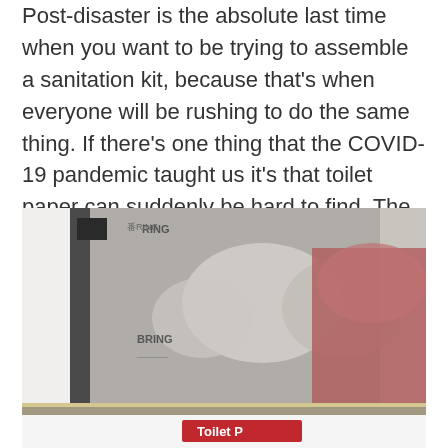Post-disaster is the absolute last time when you want to be trying to assemble a sanitation kit, because that's when everyone will be rushing to do the same thing. If there's one thing that the COVID-19 pandemic taught us it's that toilet paper can suddenly be hard to find. The same product shortage happened in Maine with the widespread browntail moth rash problem.
[Figure (photo): A close-up photo of what appears to be a display case or store shelf showing mesh/fabric items, with a partially visible red label at the bottom reading 'Toilet P...' Text overlay in the upper area reads 'BRING' and 'RING'.]